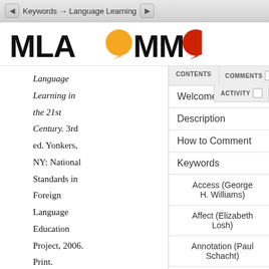Keywords → Language Learning
[Figure (logo): MLA Commons logo with orange and red speech bubble circles replacing the two O letters]
Language Learning in the 21st Century. 3rd ed. Yonkers, NY: National Standards in Foreign Language Education Project, 2006. Print.
¶ 50  ———.  0  Standards for
Welcome
Description
How to Comment
Keywords
Access (George H. Williams)
Affect (Elizabeth Losh)
Annotation (Paul Schacht)
Archive (Lauren